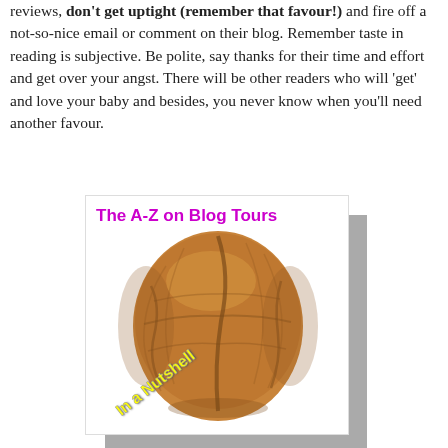reviews, don't get uptight (remember that favour!) and fire off a not-so-nice email or comment on their blog. Remember taste in reading is subjective. Be polite, say thanks for their time and effort and get over your angst. There will be other readers who will 'get' and love your baby and besides, you never know when you'll need another favour.
[Figure (illustration): Book cover showing a walnut with title 'The A-Z on Blog Tours' in magenta text at top and 'In a Nutshell' in yellow diagonal text over the walnut image]